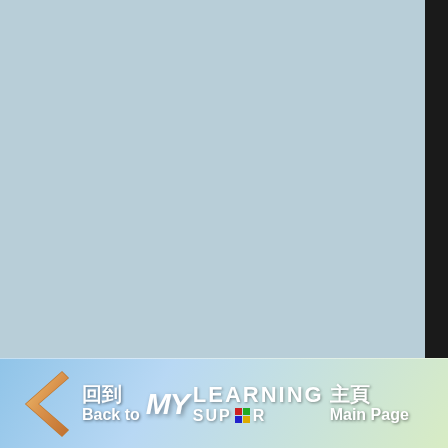[Figure (screenshot): Light blue-grey background area occupying the upper portion of the page, representing a navigation/content screen.]
[Figure (logo): Navigation footer bar with a back arrow and 'Back to MY LEARNING SUPER Main Page' text in Chinese (回到 主頁) and English, with colorful logo icon.]